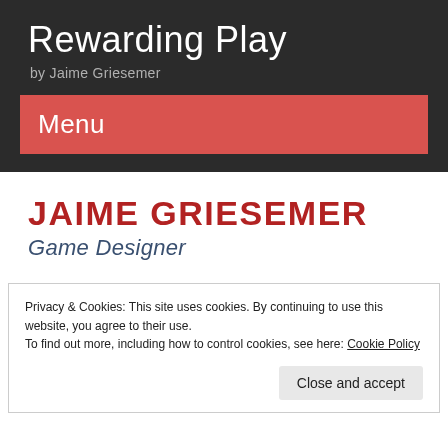Rewarding Play
by Jaime Griesemer
Menu
JAIME GRIESEMER
Game Designer
Privacy & Cookies: This site uses cookies. By continuing to use this website, you agree to their use.
To find out more, including how to control cookies, see here: Cookie Policy
Close and accept